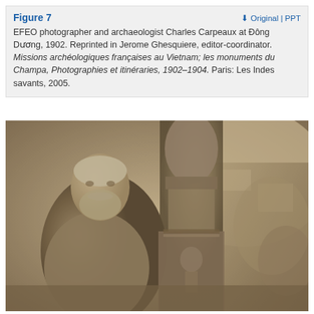Figure 7
EFEO photographer and archaeologist Charles Carpeaux at Đông Dương, 1902. Reprinted in Jerome Ghesquiere, editor-coordinator. Missions archéologiques françaises au Vietnam; les monuments du Champa, Photographies et itinéraries, 1902–1904. Paris: Les Indes savants, 2005.
[Figure (photo): Black and white sepia photograph of EFEO photographer and archaeologist Charles Carpeaux standing next to an ornate stone pillar with carved Buddhist/Hindu figures, at Đông Dương, 1902. Carpeaux is an older bearded man wearing light clothing. Stone ruins visible in background.]